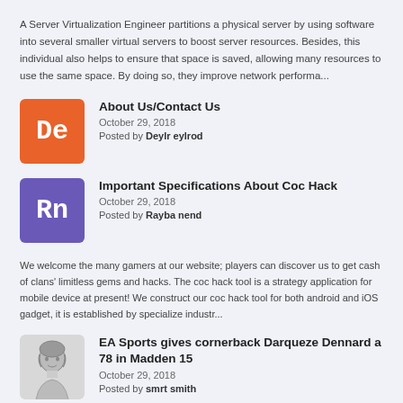A Server Virtualization Engineer partitions a physical server by using software into several smaller virtual servers to boost server resources. Besides, this individual also helps to ensure that space is saved, allowing many resources to use the same space. By doing so, they improve network performa...
[Figure (logo): Orange rounded square avatar with white serif initials 'De']
About Us/Contact Us
October 29, 2018
Posted by Deylr eylrod
[Figure (logo): Purple rounded square avatar with white serif initials 'Rn']
Important Specifications About Coc Hack
October 29, 2018
Posted by Rayba nend
We welcome the many gamers at our website; players can discover us to get cash of clans' limitless gems and hacks. The coc hack tool is a strategy application for mobile device at present! We construct our coc hack tool for both android and iOS gadget, it is established by specialize industr...
[Figure (illustration): Grayscale sketch illustration of a person with short hair]
EA Sports gives cornerback Darqueze Dennard a 78 in Madden 15
October 29, 2018
Posted by smrt smith